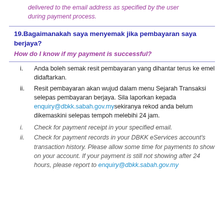delivered to the email address as specified by the user during payment process.
19.Bagaimanakah saya menyemak jika pembayaran saya berjaya?
How do I know if my payment is successful?
i. Anda boleh semak resit pembayaran yang dihantar terus ke emel didaftarkan.
ii. Resit pembayaran akan wujud dalam menu Sejarah Transaksi selepas pembayaran berjaya. Sila laporkan kepada enquiry@dbkk.sabah.gov.my sekiranya rekod anda belum dikemaskini selepas tempoh melebihi 24 jam.
i. Check for payment receipt in your specified email.
ii. Check for payment records in your DBKK eServices account's transaction history. Please allow some time for payments to show on your account. If your payment is still not showing after 24 hours, please report to enquiry@dbkk.sabah.gov.my